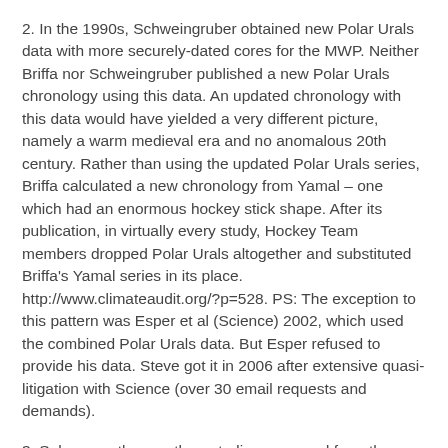2. In the 1990s, Schweingruber obtained new Polar Urals data with more securely-dated cores for the MWP. Neither Briffa nor Schweingruber published a new Polar Urals chronology using this data. An updated chronology with this data would have yielded a very different picture, namely a warm medieval era and no anomalous 20th century. Rather than using the updated Polar Urals series, Briffa calculated a new chronology from Yamal – one which had an enormous hockey stick shape. After its publication, in virtually every study, Hockey Team members dropped Polar Urals altogether and substituted Briffa's Yamal series in its place. http://www.climateaudit.org/?p=528. PS: The exception to this pattern was Esper et al (Science) 2002, which used the combined Polar Urals data. But Esper refused to provide his data. Steve got it in 2006 after extensive quasi-litigation with Science (over 30 email requests and demands).
3. Subsequently, countless studies appeared from the Team that not only used the Yamal data in place of the Polar Urals, but where Yamal had a critical impact on the relative ranking of the 20th century versus the medieval era.